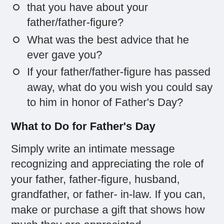that you have about your father/father-figure?
What was the best advice that he ever gave you?
If your father/father-figure has passed away, what do you wish you could say to him in honor of Father's Day?
What to Do for Father's Day
Simply write an intimate message recognizing and appreciating the role of your father, father-figure, husband, grandfather, or father- in-law. If you can, make or purchase a gift that shows how much they are appreciated.